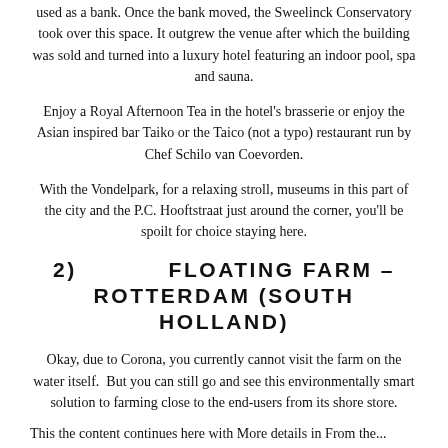used as a bank. Once the bank moved, the Sweelinck Conservatory took over this space. It outgrew the venue after which the building was sold and turned into a luxury hotel featuring an indoor pool, spa and sauna.
Enjoy a Royal Afternoon Tea in the hotel's brasserie or enjoy the Asian inspired bar Taiko or the Taico (not a typo) restaurant run by Chef Schilo van Coevorden.
With the Vondelpark, for a relaxing stroll, museums in this part of the city and the P.C. Hooftstraat just around the corner, you'll be spoilt for choice staying here.
2)   FLOATING FARM – ROTTERDAM (SOUTH HOLLAND)
Okay, due to Corona, you currently cannot visit the farm on the water itself.  But you can still go and see this environmentally smart solution to farming close to the end-users from its shore store.
This the content continues here with More details in From the...